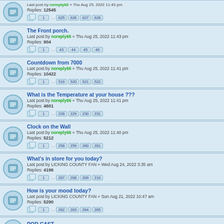Replies: 12545 | Last post by noreply66 | Thu Aug 25, 2022 | Pages: 1 ... 625 626 627 628
The Front porch. | Last post by noreply66 « Thu Aug 25, 2022 11:43 pm | Replies: 904 | Pages: 1 ... 43 44 45 46
Countdown from 7000 | Last post by noreply66 « Thu Aug 25, 2022 11:41 pm | Replies: 10422 | Pages: 1 ... 519 520 521 522
What is the Temperature at your house ??? | Last post by noreply66 « Thu Aug 25, 2022 11:41 pm | Replies: 4601 | Pages: 1 ... 228 229 230 231
Clock on the Wall | Last post by noreply66 « Thu Aug 25, 2022 11:40 pm | Replies: 5212 | Pages: 1 ... 258 259 260 261
What's in store for you today? | Last post by LICKING COUNTY FAN « Wed Aug 24, 2022 3:35 am | Replies: 4196 | Pages: 1 ... 207 208 209 210
How is your mood today? | Last post by LICKING COUNTY FAN « Sun Aug 21, 2022 10:47 am | Replies: 5290 | Pages: 1 ... 262 263 264 265
POD CAST | Last post by LICKING COUNTY FAN « Sun Aug 21, 2022 2:33 am | Replies: 3
What's everyone getting into today?